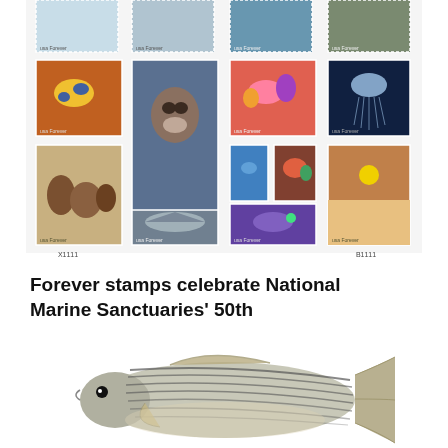[Figure (illustration): A sheet of USPS Forever stamps celebrating National Marine Sanctuaries' 50th anniversary, showing 10 stamps with various marine life including fish, sea otter, coral reef, jellyfish, sea lions, shark, and coastal sunset scenes. Plate numbers X1111 and B1111 shown at bottom.]
Forever stamps celebrate National Marine Sanctuaries' 50th
[Figure (photo): A striped bass fish (Morone saxatilis) photographed against a white background, showing distinctive horizontal stripes along its silver body.]